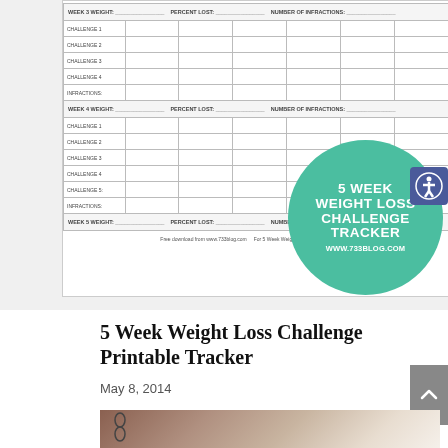[Figure (screenshot): Screenshot of a 5 Week Weight Loss Challenge Printable Tracker document showing a table with rows for Week 3 and Week 4 weights, percent lost, number of infractions, and challenges 1-5. A teal/green circular badge overlay reads '5 WEEK WEIGHT LOSS CHALLENGE TRACKER www.733blog.com'. An accessibility icon appears in the top-right corner. Footer reads 'Free download from www.733blog.com  For 5 Week Weight Loss Challenge inform...']
5 Week Weight Loss Challenge Printable Tracker
May 8, 2014
[Figure (photo): Partial photo of a spiral-bound notebook on a wooden surface, with colored tabs visible]